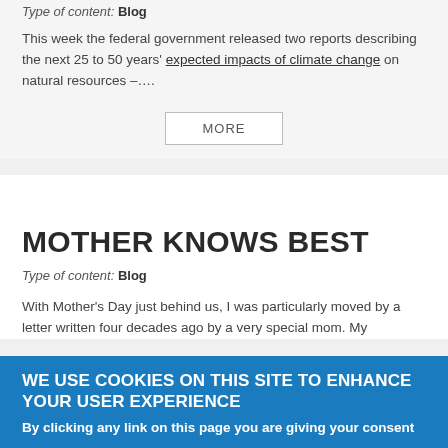Type of content: Blog
This week the federal government released two reports describing the next 25 to 50 years' expected impacts of climate change on natural resources –….
MORE
MOTHER KNOWS BEST
Type of content: Blog
With Mother's Day just behind us, I was particularly moved by a letter written four decades ago by a very special mom. My
WE USE COOKIES ON THIS SITE TO ENHANCE YOUR USER EXPERIENCE
By clicking any link on this page you are giving your consent